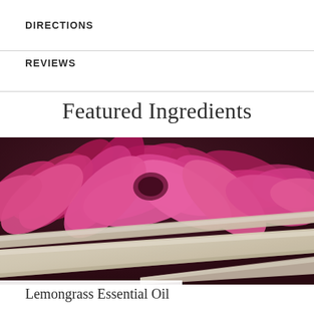DIRECTIONS
REVIEWS
Featured Ingredients
[Figure (photo): Close-up photo of pink flower petals (dahlia) with pale lemongrass stalks in the foreground, on a dark background]
Lemongrass Essential Oil